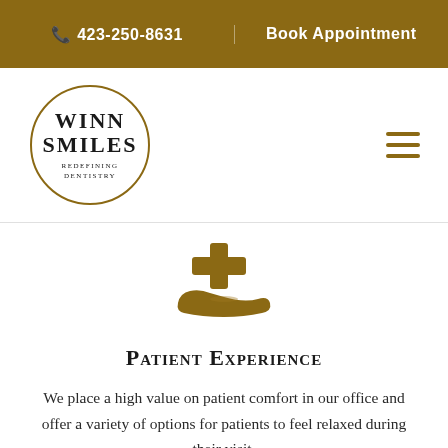📞 423-250-8631 | Book Appointment
[Figure (logo): Winn Smiles Redefining Dentistry circular logo with gold border]
[Figure (illustration): Gold medical cross with hand icon representing patient care]
Patient Experience
We place a high value on patient comfort in our office and offer a variety of options for patients to feel relaxed during their visit.
[Figure (illustration): Gold building/office icon at bottom of page]